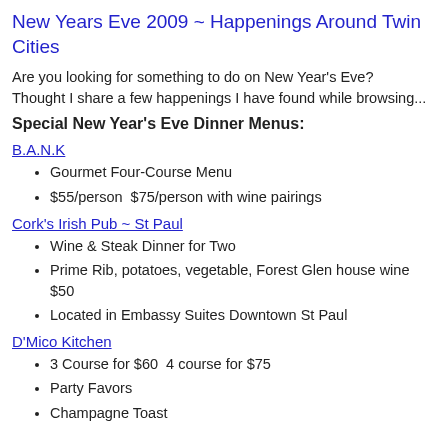New Years Eve 2009 ~ Happenings Around Twin Cities
Are you looking for something to do on New Year's Eve?   Thought I share a few happenings I have found while browsing...
Special New Year's Eve Dinner Menus:
B.A.N.K
Gourmet Four-Course Menu
$55/person  $75/person with wine pairings
Cork's Irish Pub ~ St Paul
Wine & Steak Dinner for Two
Prime Rib, potatoes, vegetable, Forest Glen house wine $50
Located in Embassy Suites Downtown St Paul
D'Mico Kitchen
3 Course for $60  4 course for $75
Party Favors
Champagne Toast